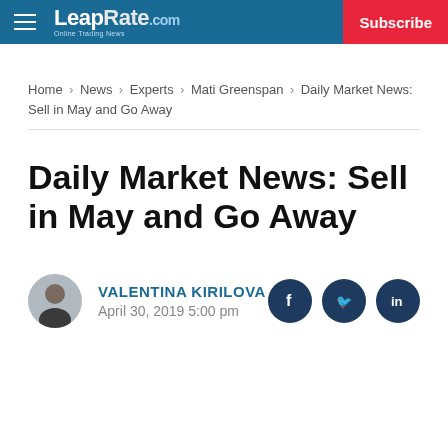LeapRate.com | Subscribe
Home > News > Experts > Mati Greenspan > Daily Market News: Sell in May and Go Away
Daily Market News: Sell in May and Go Away
VALENTINA KIRILOVA
April 30, 2019 5:00 pm